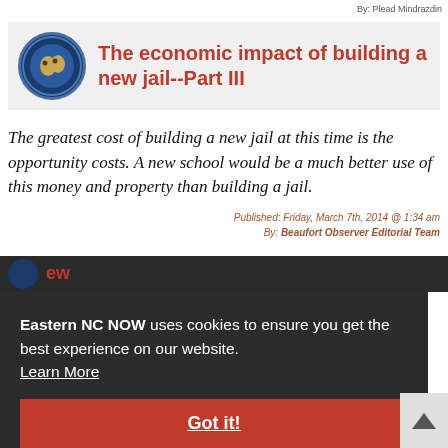By: Plead Mindrazdin
The economic impact of building a new jail--Part III
The greatest cost of building a new jail at this time is the opportunity costs. A new school would be a much better use of this money and property than building a jail.
Published: Friday, March 7th, 2014 @ 1:34 am
By: Beaufort Observer Editorial Team
Eastern NC NOW uses cookies to ensure you get the best experience on our website. Learn More
Got it!